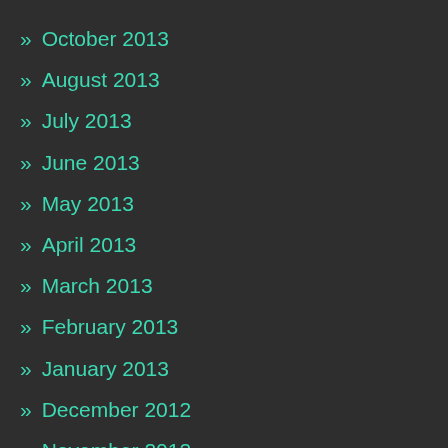» October 2013
» August 2013
» July 2013
» June 2013
» May 2013
» April 2013
» March 2013
» February 2013
» January 2013
» December 2012
» November 2012
» October 2012
» September 2012
» August 2012